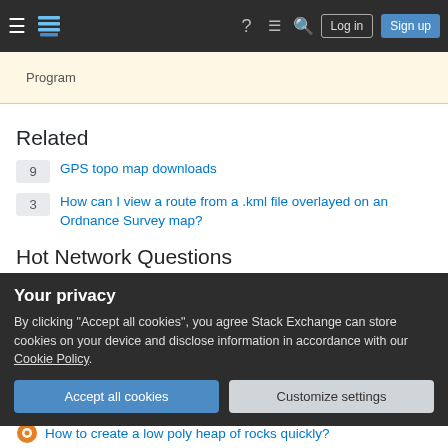Stack Exchange navigation bar with logo, Log in, Sign up
Program
Related
9  GPS topo map downloads
3  How can I view a route from a .kml file overlayed on an Ordnance Survey map?
Hot Network Questions
1/60: why was the figure 60 chosen?
Why couldn't the Ring be taken to Gondor by sea?
Your privacy
By clicking "Accept all cookies", you agree Stack Exchange can store cookies on your device and disclose information in accordance with our Cookie Policy.
How to create a low poly heap of rocks quickly?